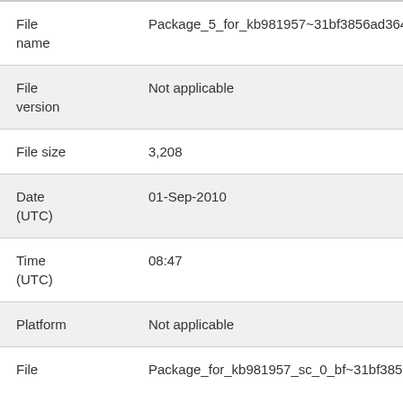| Field | Value |
| --- | --- |
| File name | Package_5_for_kb981957~31bf3856ad364e35~ia64~~ |
| File version | Not applicable |
| File size | 3,208 |
| Date (UTC) | 01-Sep-2010 |
| Time (UTC) | 08:47 |
| Platform | Not applicable |
| File | Package_for_kb981957_sc_0_bf~31bf3856ad364e35~i |